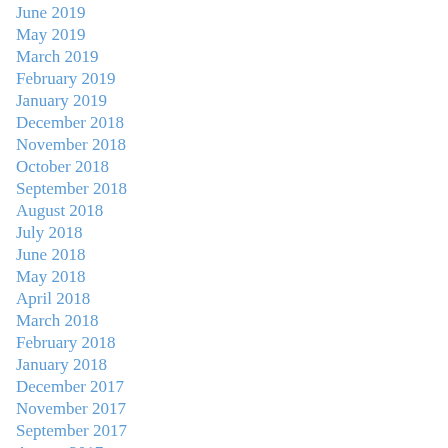June 2019
May 2019
March 2019
February 2019
January 2019
December 2018
November 2018
October 2018
September 2018
August 2018
July 2018
June 2018
May 2018
April 2018
March 2018
February 2018
January 2018
December 2017
November 2017
September 2017
August 2017